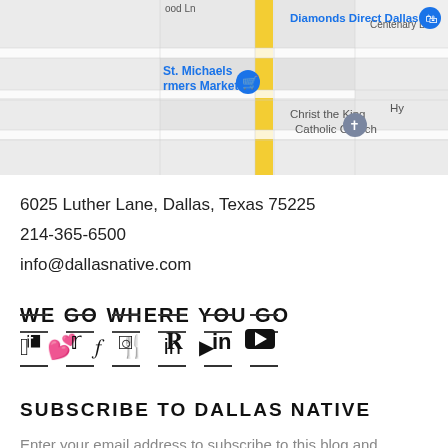[Figure (map): Google Maps screenshot showing the area around 6025 Luther Lane, Dallas, Texas 75225, with landmarks including Diamonds Direct Dallas, St. Michaels Farmers Market, and Christ the King Catholic Church.]
6025 Luther Lane, Dallas, Texas 75225
214-365-6500
info@dallasnative.com
WE GO WHERE YOU GO
[Figure (other): Social media icons row: Facebook, Twitter, Instagram, Pinterest, LinkedIn, YouTube, framed above and below with dashes.]
SUBSCRIBE TO DALLAS NATIVE
Enter your email address to subscribe to this blog and receive notifications of new posts by email.